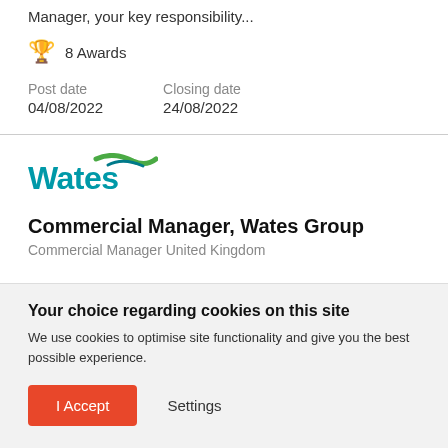Manager, your key responsibility...
🏆 8 Awards
Post date 04/08/2022  Closing date 24/08/2022
[Figure (logo): Wates company logo with teal/green swoosh and teal text]
Commercial Manager, Wates Group
Commercial Manager United Kingdom
Your choice regarding cookies on this site
We use cookies to optimise site functionality and give you the best possible experience.
I Accept  Settings